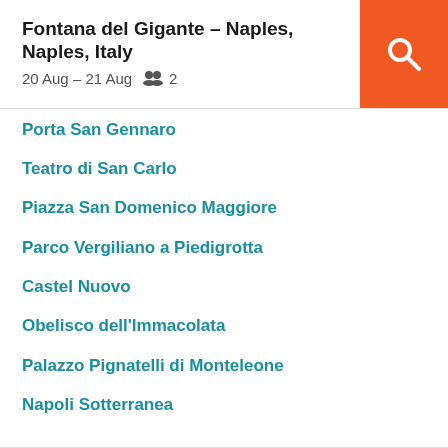Fontana del Gigante – Naples, Naples, Italy
20 Aug – 21 Aug   2
Porta San Gennaro
Teatro di San Carlo
Piazza San Domenico Maggiore
Parco Vergiliano a Piedigrotta
Castel Nuovo
Obelisco dell'Immacolata
Palazzo Pignatelli di Monteleone
Napoli Sotterranea
Chiesa di San Ferdinando
Consolato Generale USA di Napoli
Villa comunale di Napoli
Museo Archeologico Nazionale di Napoli
Stazione Zoologica Anton Dohrn
Palazzo Reale di Napoli
Statua di Vittorio Emanuele II
Piazza del Plebiscito